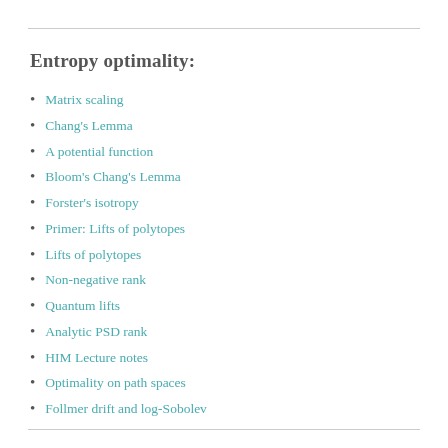Entropy optimality:
Matrix scaling
Chang's Lemma
A potential function
Bloom's Chang's Lemma
Forster's isotropy
Primer: Lifts of polytopes
Lifts of polytopes
Non-negative rank
Quantum lifts
Analytic PSD rank
HIM Lecture notes
Optimality on path spaces
Follmer drift and log-Sobolev